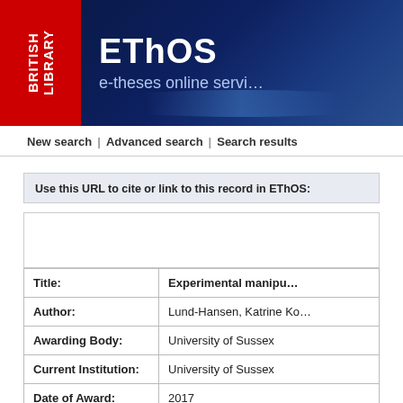[Figure (logo): British Library EThOS (e-theses online service) header banner with red British Library logo on left and dark blue EThOS banner on right]
New search | Advanced search | Search results
Use this URL to cite or link to this record in EThOS:
| Title: | Experimental manipu... |
| Author: | Lund-Hansen, Katrine Ko... |
| Awarding Body: | University of Sussex |
| Current Institution: | University of Sussex |
| Date of Award: | 2017 |